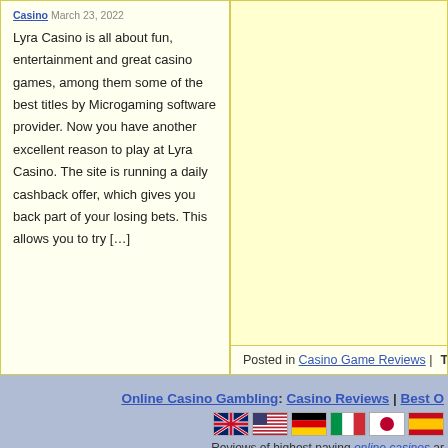Casino March 23, 2022
Lyra Casino is all about fun, entertainment and great casino games, among them some of the best titles by Microgaming software provider. Now you have another excellent reason to play at Lyra Casino. The site is running a daily cashback offer, which gives you back part of your losing bets. This allows you to try […]
Posted in Casino Game Reviews | Tags
Online Casino Gambling: Casino Reviews | Best O…
[Figure (other): Row of country flag icons: UK, USA, Germany, Italy, Japan, Spain]
Reviews of highest paying online casinos ar…
Play casino games for free and receive exclusive welco…
Copyright © 2006-2016 www.168casi…